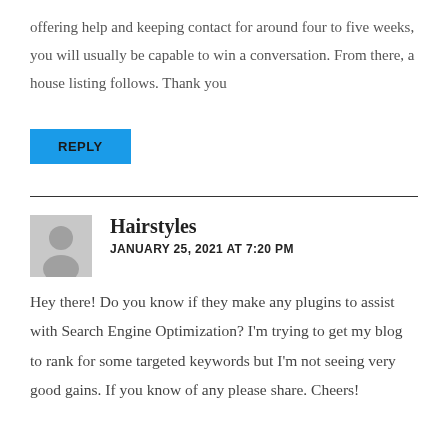offering help and keeping contact for around four to five weeks, you will usually be capable to win a conversation. From there, a house listing follows. Thank you
REPLY
Hairstyles
JANUARY 25, 2021 AT 7:20 PM
Hey there! Do you know if they make any plugins to assist with Search Engine Optimization? I'm trying to get my blog to rank for some targeted keywords but I'm not seeing very good gains. If you know of any please share. Cheers!